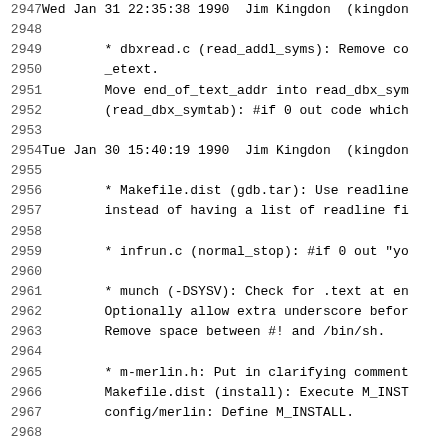Code/changelog listing, lines 2947-2968, showing git/CVS log entries for Wed Jan 31 and Tue Jan 30 1990 by Jim Kingdon, with changes to dbxread.c, Makefile.dist, infrun.c, munch, and m-merlin.h